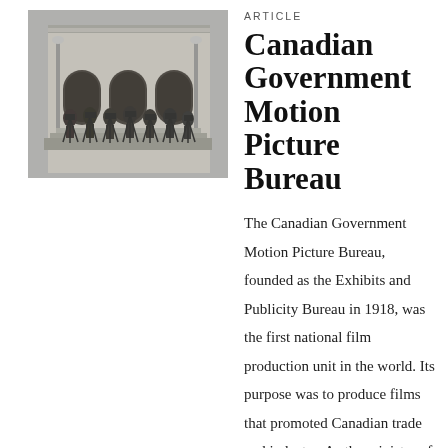[Figure (photo): Black and white photograph of a group of people with film cameras on tripods standing in front of a building with arched doorways.]
ARTICLE
Canadian Government Motion Picture Bureau
The Canadian Government Motion Picture Bureau, founded as the Exhibits and Publicity Bureau in 1918, was the first national film production unit in the world. Its purpose was to produce films that promoted Canadian trade and industry. As the minister of Trade and Commerce put it in 1924, the